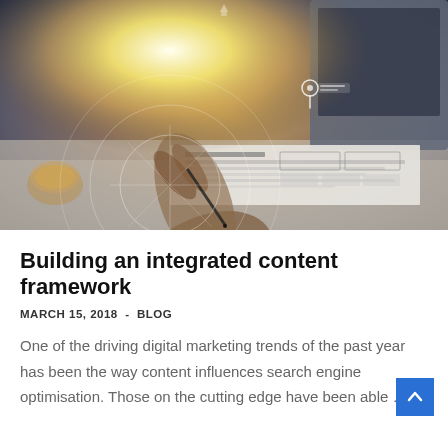[Figure (photo): A person's hand holding a stylus over printed documents/wireframes on a desk, with a laptop in the background and a bright lens flare, overlaid with digital/tech graphic elements including a location pin icon and circular radar lines.]
Building an integrated content framework
MARCH 15, 2018 - BLOG
One of the driving digital marketing trends of the past year has been the way content influences search engine optimisation. Those on the cutting edge have been able …